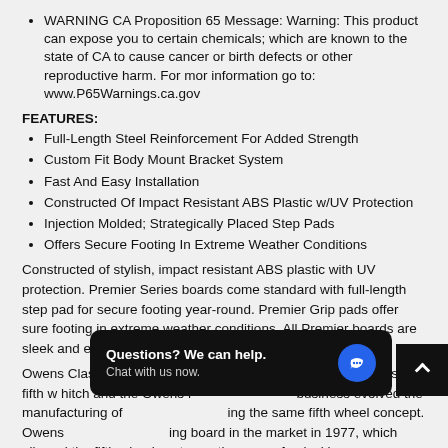WARNING CA Proposition 65 Message: Warning: This product can expose you to certain chemicals; which are known to the state of CA to cause cancer or birth defects or other reproductive harm. For mor information go to: www.P65Warnings.ca.gov
FEATURES:
Full-Length Steel Reinforcement For Added Strength
Custom Fit Body Mount Bracket System
Fast And Easy Installation
Constructed Of Impact Resistant ABS Plastic w/UV Protection
Injection Molded; Strategically Placed Step Pads
Offers Secure Footing In Extreme Weather Conditions
Constructed of stylish, impact resistant ABS plastic with UV protection. Premier Series boards come standard with full-length step pad for secure footing year-round. Premier Grip pads offer sure footing in extreme weather conditions. All Premier boards are sleek and elegant!
Owens Classic was created 1965 with the invention of the Classic fifth w hitch and the Owens f business evolved the manufacturing of ing the same fifth wheel concept. Owens ing board in the market in 1977, which allowed the fifth wheel customer the ease of unlocking